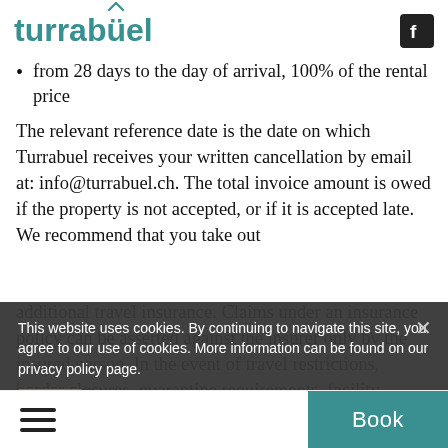turrabuel
from 28 days to the day of arrival, 100% of the rental price
The relevant reference date is the date on which Turrabuel receives your written cancellation by email at: info@turrabuel.ch. The total invoice amount is owed if the property is not accepted, or if it is accepted late. We recommend that you take out
additional travel insurance. Claims under an insurance policy can be asserted against the insurer only by the insured person. In the event of travel restrictions, border closures, quarantine requirements, facility closures (mountain railways) or similar in connection with a pandemic (such as Covid-19), the rent you have p
This website uses cookies. By continuing to navigate this site, you agree to our use of cookies. More information can be found on our privacy policy page.
Book